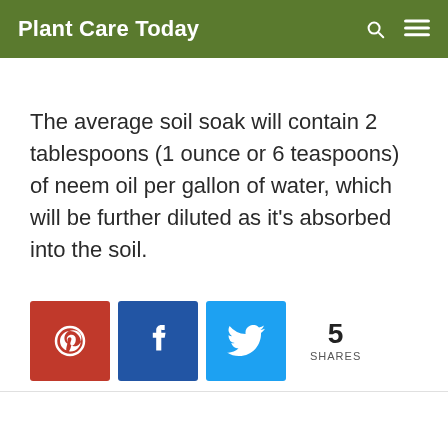Plant Care Today
The average soil soak will contain 2 tablespoons (1 ounce or 6 teaspoons) of neem oil per gallon of water, which will be further diluted as it’s absorbed into the soil.
[Figure (infographic): Social share buttons: Pinterest (red), Facebook (dark blue), Twitter (light blue), and a share count showing 5 SHARES]